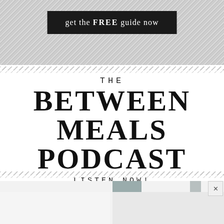[Figure (illustration): Marble/stone textured background with a black button reading 'get the FREE guide now' in white text]
[Figure (illustration): Diagonal stripe divider (hatching pattern) at top of podcast section]
THE BETWEEN MEALS PODCAST LISTEN NOW!
[Figure (illustration): Diagonal stripe divider (hatching pattern) at bottom of podcast section]
[Figure (photo): Partially visible image at the bottom of the page with gray blocks visible]